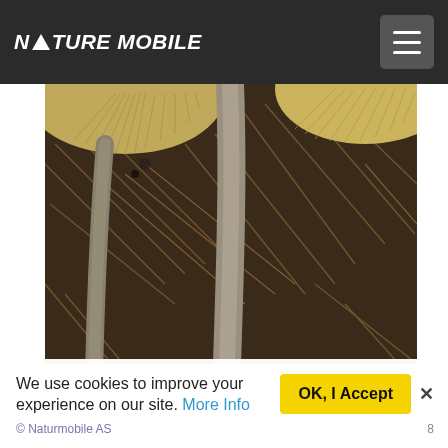NATURE MOBILE
[Figure (photo): Close-up photograph of mushrooms viewed from below, showing the gills and stems, surrounded by pine needles and forest floor debris.]
We use cookies to improve your experience on our site. More Info
OK, I Accept
x